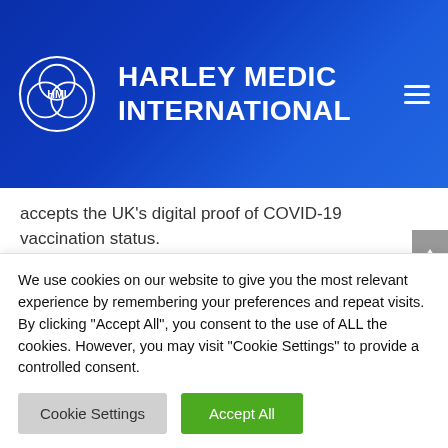HARLEY MEDIC INTERNATIONAL
accepts the UK’s digital proof of COVID-19 vaccination status.
Burundi
All travellers are required to get a visa before being allowed entry. Passengers must also present proof of a
We use cookies on our website to give you the most relevant experience by remembering your preferences and repeat visits. By clicking “Accept All”, you consent to the use of ALL the cookies. However, you may visit "Cookie Settings" to provide a controlled consent.